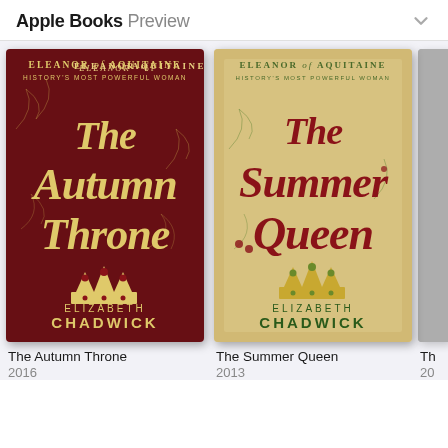Apple Books Preview
[Figure (screenshot): Apple Books preview showing two book covers side by side: 'The Autumn Throne' by Elizabeth Chadwick (2016) with a dark red cover and gold lettering, and 'The Summer Queen' by Elizabeth Chadwick (2013) with a cream/gold cover and red lettering. Both books are part of the Eleanor of Aquitaine series subtitled 'History's Most Powerful Woman'. A partial third book cover is visible on the right edge.]
The Autumn Throne
2016
The Summer Queen
2013